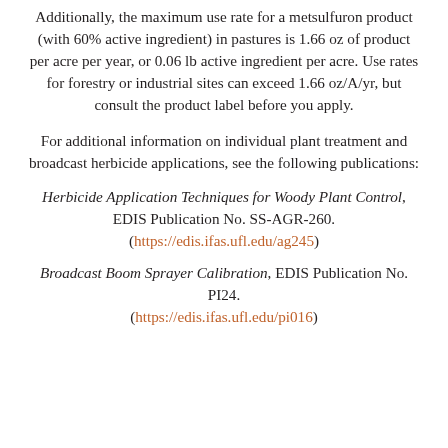Additionally, the maximum use rate for a metsulfuron product (with 60% active ingredient) in pastures is 1.66 oz of product per acre per year, or 0.06 lb active ingredient per acre. Use rates for forestry or industrial sites can exceed 1.66 oz/A/yr, but consult the product label before you apply.
For additional information on individual plant treatment and broadcast herbicide applications, see the following publications:
Herbicide Application Techniques for Woody Plant Control, EDIS Publication No. SS-AGR-260. (https://edis.ifas.ufl.edu/ag245)
Broadcast Boom Sprayer Calibration, EDIS Publication No. PI24. (https://edis.ifas.ufl.edu/pi016)